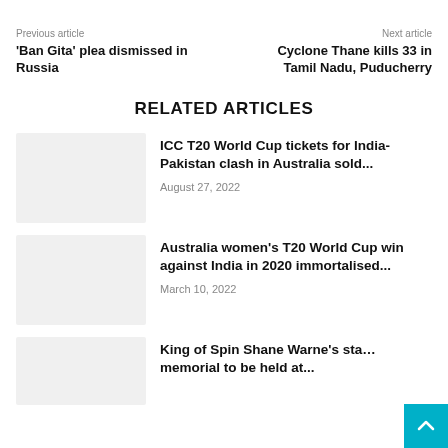Previous article
'Ban Gita' plea dismissed in Russia
Next article
Cyclone Thane kills 33 in Tamil Nadu, Puducherry
RELATED ARTICLES
[Figure (photo): Thumbnail image placeholder for ICC T20 World Cup article]
ICC T20 World Cup tickets for India-Pakistan clash in Australia sold...
August 27, 2022
[Figure (photo): Thumbnail image placeholder for Australia women's T20 World Cup article]
Australia women's T20 World Cup win against India in 2020 immortalised...
March 10, 2022
[Figure (photo): Thumbnail image placeholder for King of Spin Shane Warne article]
King of Spin Shane Warne's sta… memorial to be held at...